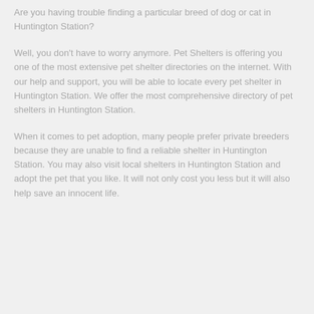Are you having trouble finding a particular breed of dog or cat in Huntington Station?
Well, you don't have to worry anymore. Pet Shelters is offering you one of the most extensive pet shelter directories on the internet. With our help and support, you will be able to locate every pet shelter in Huntington Station. We offer the most comprehensive directory of pet shelters in Huntington Station.
When it comes to pet adoption, many people prefer private breeders because they are unable to find a reliable shelter in Huntington Station. You may also visit local shelters in Huntington Station and adopt the pet that you like. It will not only cost you less but it will also help save an innocent life.